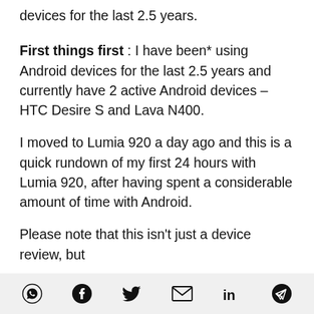devices for the last 2.5 years.
First things first : I have been* using Android devices for the last 2.5 years and currently have 2 active Android devices – HTC Desire S and Lava N400.
I moved to Lumia 920 a day ago and this is a quick rundown of my first 24 hours with Lumia 920, after having spent a considerable amount of time with Android.
Please note that this isn't just a device review, but
Social share icons: WhatsApp, Facebook, Twitter, Email, LinkedIn, Telegram